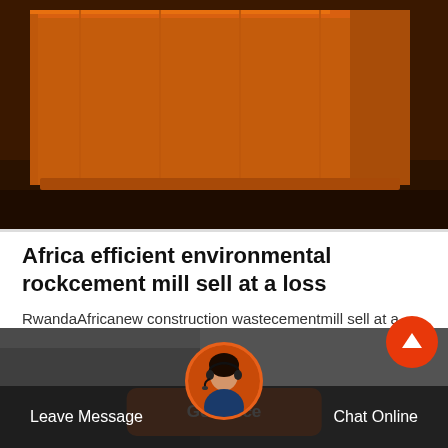[Figure (photo): Orange-painted industrial machinery or equipment structure, likely a cement mill or construction machine, photographed in an industrial setting with dark flooring.]
Africa efficient environmental rockcement mill sell at a loss
RwandaAfricanew construction wastecementmill sell at a loss. Enugu NigeriaAfricahigh quality large lime impact. Enugu NigeriaAfrica highqualitynewconstruction wasteshaking tablesell.high qualitylargepyrrhotite sand washersellin South…
Get Price
Leave Message  Chat Online